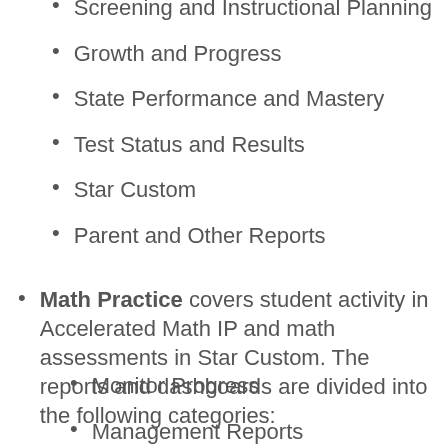Screening and Instructional Planning
Growth and Progress
State Performance and Mastery
Test Status and Results
Star Custom
Parent and Other Reports
Math Practice covers student activity in Accelerated Math IP and math assessments in Star Custom. The reports and dashboards are divided into the following categories:
Monitor Progress
Management Reports